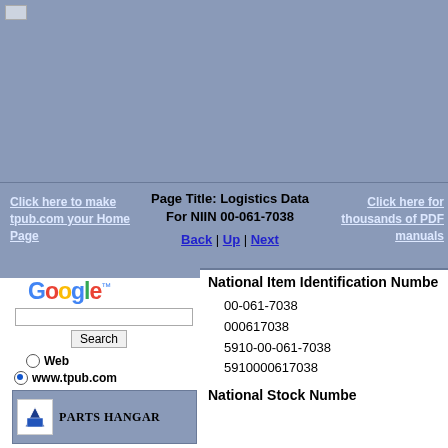[Figure (screenshot): Steel blue banner area with small image placeholder top-left, navigation links, and page title]
Click here to make tpub.com your Home Page
Page Title: Logistics Data For NIIN 00-061-7038
Back | Up | Next
Click here for thousands of PDF manuals
[Figure (logo): Google logo with trademark symbol]
Search
Web
www.tpub.com
[Figure (logo): Parts Hangar logo with icon]
National Item Identification Number
00-061-7038
000617038
5910-00-061-7038
5910000617038
National Stock Number